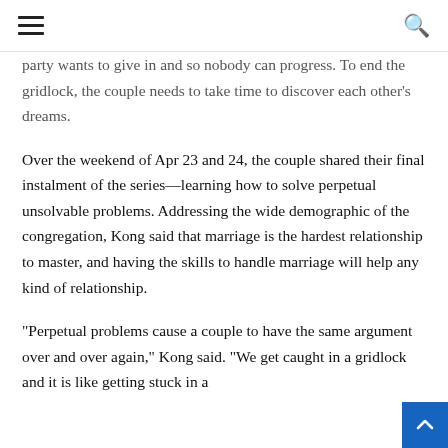≡  🔍
party wants to give in and so nobody can progress. To end the gridlock, the couple needs to take time to discover each other's dreams.
Over the weekend of Apr 23 and 24, the couple shared their final instalment of the series—learning how to solve perpetual unsolvable problems. Addressing the wide demographic of the congregation, Kong said that marriage is the hardest relationship to master, and having the skills to handle marriage will help any kind of relationship.
“Perpetual problems cause a couple to have the same argument over and over again,” Kong said. “We get caught in a gridlock and it is like getting stuck in a